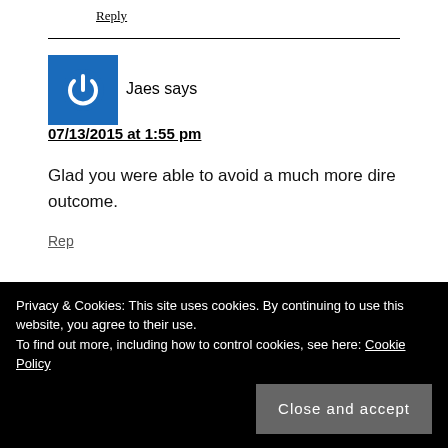Reply
Jaes says
07/13/2015 at 1:55 pm
Glad you were able to avoid a much more dire outcome.
Privacy & Cookies: This site uses cookies. By continuing to use this website, you agree to their use. To find out more, including how to control cookies, see here: Cookie Policy
Close and accept